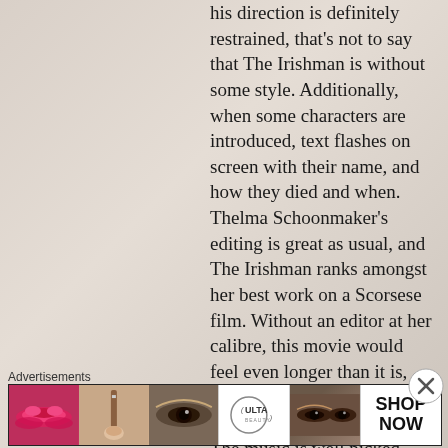his direction is definitely restrained, that's not to say that The Irishman is without some style. Additionally, when some characters are introduced, text flashes on screen with their name, and how they died and when. Thelma Schoonmaker's editing is great as usual, and The Irishman ranks amongst her best work on a Scorsese film. Without an editor at her calibre, this movie would feel even longer than it is, but she keeps everything moving from scene to scene. The music is well picked
[Figure (other): Advertisement banner showing Ulta Beauty ad with makeup imagery including lips, brush, eye, Ulta logo, smoky eye, and SHOP NOW button]